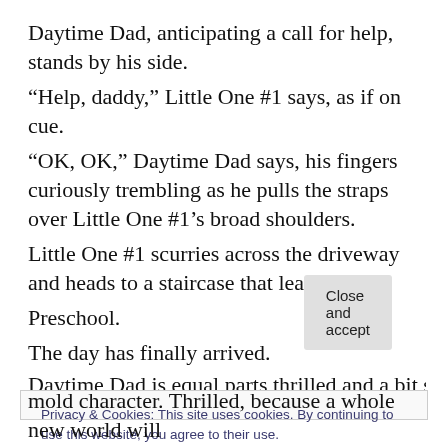Daytime Dad, anticipating a call for help, stands by his side.
“Help, daddy,” Little One #1 says, as if on cue.
“OK, OK,” Daytime Dad says, his fingers curiously trembling as he pulls the straps over Little One #1’s broad shoulders.
Little One #1 scurries across the driveway and heads to a staircase that leads to …
Preschool.
The day has finally arrived.
Daytime Dad is equal parts thrilled and a bit saddened to
Privacy & Cookies: This site uses cookies. By continuing to use this website, you agree to their use.
To find out more, including how to control cookies, see here: Cookie Policy
mold character. Thrilled, because a whole new world will